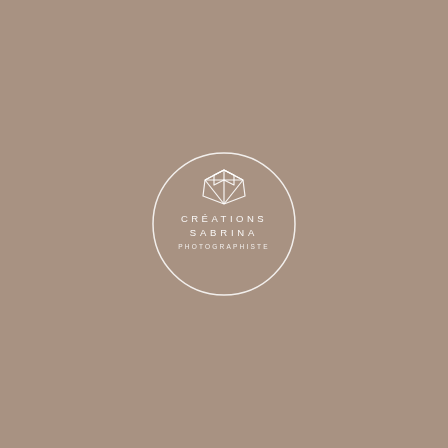[Figure (logo): Circular logo with white outline on warm taupe background. Inside the circle: a geometric faceted gem/crystal icon at the top, then centered text 'CRÉATIONS SABRINA' in spaced capital letters, and below that 'PHOTOGRAPHISTE' in smaller spaced capitals. All elements in white.]